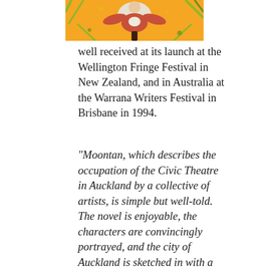[Figure (illustration): Colorful illustrated book cover or artwork showing a stylized figure/bird on an orange and yellow background with decorative elements]
well received at its launch at the Wellington Fringe Festival in New Zealand, and in Australia at the Warrana Writers Festival in Brisbane in 1994.
"Moontan, which describes the occupation of the Civic Theatre in Auckland by a collective of artists, is simple but well-told. The novel is enjoyable, the characters are convincingly portrayed, and the city of Auckland is sketched in with a deft touch." Otago Daily Times